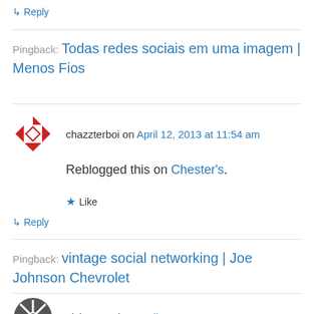↳ Reply
Pingback: Todas redes sociais em uma imagem | Menos Fios
chazzterboi on April 12, 2013 at 11:54 am
Reblogged this on Chester's.
★ Like
↳ Reply
Pingback: vintage social networking | Joe Johnson Chevrolet
nickmenard on April 12, 2013 at 3:30 pm